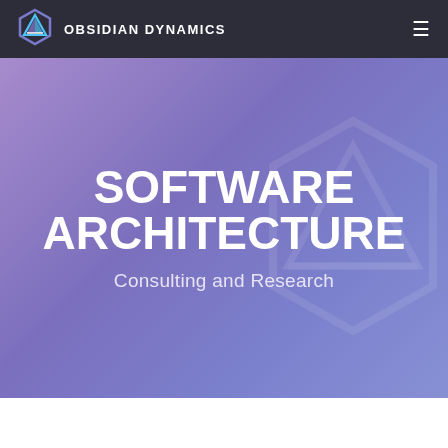OBSIDIAN DYNAMICS
[Figure (illustration): Obsidian Dynamics logo: hexagonal shape with triangular arrow icon in blue and teal gradient]
SOFTWARE ARCHITECTURE
Consulting and Research
[Figure (logo): Large watermark version of Obsidian Dynamics hexagonal logo in light purple, partially visible on right side of hero section]